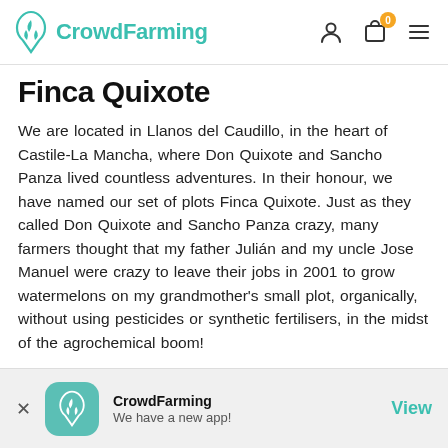CrowdFarming
Finca Quixote
We are located in Llanos del Caudillo, in the heart of Castile-La Mancha, where Don Quixote and Sancho Panza lived countless adventures. In their honour, we have named our set of plots Finca Quixote. Just as they called Don Quixote and Sancho Panza crazy, many farmers thought that my father Julián and my uncle Jose Manuel were crazy to leave their jobs in 2001 to grow watermelons on my grandmother's small plot, organically, without using pesticides or synthetic fertilisers, in the midst of the agrochemical boom!
[Figure (screenshot): App download banner: CrowdFarming logo icon, text 'CrowdFarming / We have a new app!', and a 'View' link button]